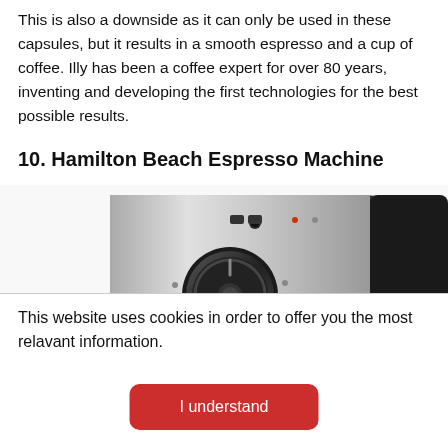This is also a downside as it can only be used in these capsules, but it results in a smooth espresso and a cup of coffee. Illy has been a coffee expert for over 80 years, inventing and developing the first technologies for the best possible results.
10. Hamilton Beach Espresso Machine
[Figure (photo): Photo of a Hamilton Beach Espresso Machine showing the stainless steel front panel with a large black rotary knob, control buttons, and the Hamilton Beach logo at the bottom. The machine has a black housing on the right side.]
This website uses cookies in order to offer you the most relavant information.
I understand